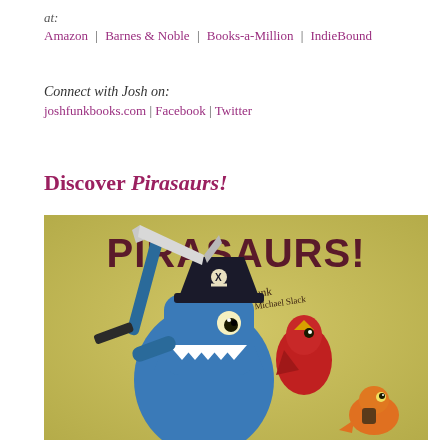at:
Amazon | Barnes & Noble | Books-a-Million | IndieBound
Connect with Josh on:
joshfunkbooks.com | Facebook | Twitter
Discover Pirasaurs!
[Figure (illustration): Book cover of 'Pirasaurs!' by Josh Funk, illustrations by Michael Slack. Features a blue dinosaur pirate character wearing a black pirate hat, holding a sword, with a red bird and a small orange dinosaur character on a yellow-green background.]